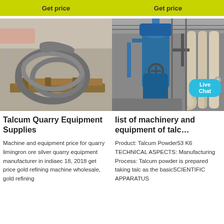[Figure (photo): Button labeled Get price with yellow-green background, left column]
[Figure (photo): Button labeled Get price with yellow-green background, right column]
[Figure (photo): Photo of metal equipment rings on a wooden pallet in a workshop]
[Figure (photo): Photo of blue industrial talc processing machinery with Live Chat bubble overlay]
Talcum Quarry Equipment Supplies
list of machinery and equipment of talc…
Machine and equipment price for quarry limingron ore silver quarry equipment manufacturer in indiaec 18, 2018 get price gold refining machine wholesale, gold refining
Product: Talcum Powder53 K6 TECHNICAL ASPECTS: Manufacturing Process: Talcum powder is prepared taking talc as the basicSCIENTIFIC APPARATUS